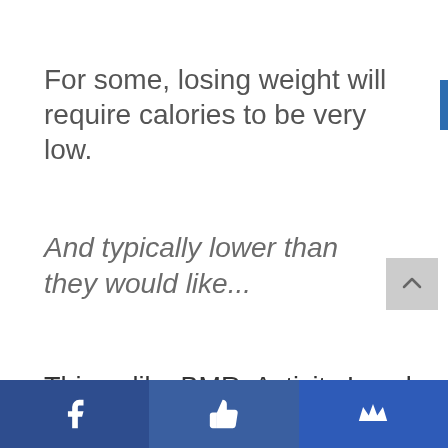For some, losing weight will require calories to be very low.
And typically lower than they would like...
Things like BMR, Activity Level, NEAT (Non-Exercise Activity Thermogenesis), and Body Fat % all have a role in the number of calories a unique person
Facebook | Thumbs up | Crown — social share bar